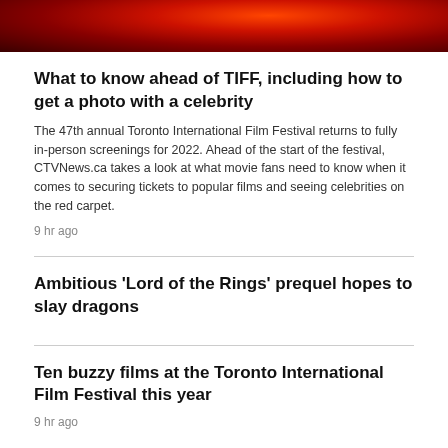[Figure (photo): Dark red/orange abstract background image, appears to be a fantasy or fire-related visual]
What to know ahead of TIFF, including how to get a photo with a celebrity
The 47th annual Toronto International Film Festival returns to fully in-person screenings for 2022. Ahead of the start of the festival, CTVNews.ca takes a look at what movie fans need to know when it comes to securing tickets to popular films and seeing celebrities on the red carpet.
9 hr ago
Ambitious 'Lord of the Rings' prequel hopes to slay dragons
Ten buzzy films at the Toronto International Film Festival this year
9 hr ago